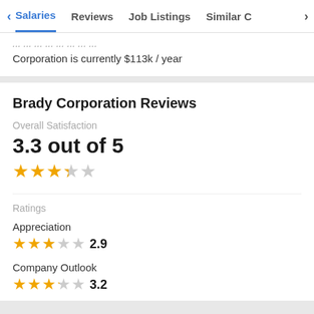< Salaries   Reviews   Job Listings   Similar C>
Corporation is currently $113k / year
Brady Corporation Reviews
Overall Satisfaction
3.3 out of 5
[Figure (other): 3.3 out of 5 stars rating shown as orange stars]
Ratings
Appreciation
[Figure (other): 2.9 star rating with numeric label 2.9]
Company Outlook
[Figure (other): 3.2 star rating with numeric label 3.2]